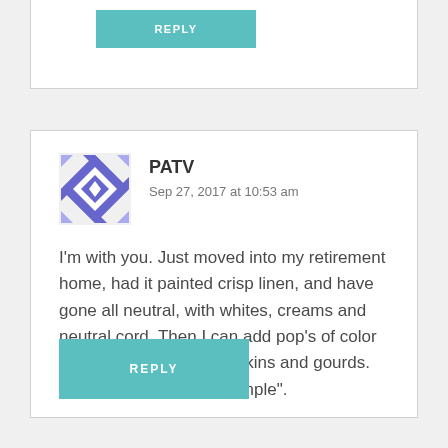REPLY
PATV
Sep 27, 2017 at 10:53 am
I'm with you. Just moved into my retirement home, had it painted crisp linen, and have gone all neutral, with whites, creams and neutral cord. Then I can add pop's of color like the oranges of pumpkins and gourds. Really liking this new "simple".
REPLY